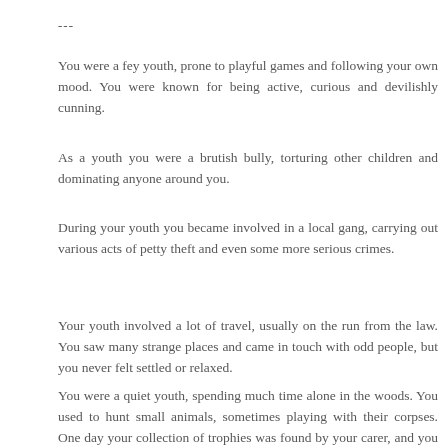---
You were a fey youth, prone to playful games and following your own mood. You were known for being active, curious and devilishly cunning.
As a youth you were a brutish bully, torturing other children and dominating anyone around you.
During your youth you became involved in a local gang, carrying out various acts of petty theft and even some more serious crimes.
Your youth involved a lot of travel, usually on the run from the law. You saw many strange places and came in touch with odd people, but you never felt settled or relaxed.
You were a quiet youth, spending much time alone in the woods. You used to hunt small animals, sometimes playing with their corpses. One day your collection of trophies was found by your carer, and you were never allowed into the woods again.